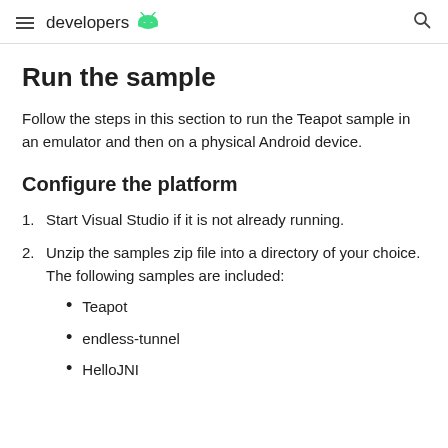developers
Run the sample
Follow the steps in this section to run the Teapot sample in an emulator and then on a physical Android device.
Configure the platform
1. Start Visual Studio if it is not already running.
2. Unzip the samples zip file into a directory of your choice. The following samples are included:
Teapot
endless-tunnel
HelloJNI